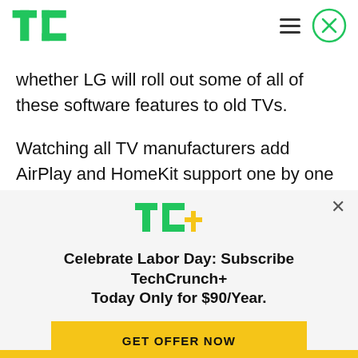TechCrunch
whether LG will roll out some of all of these software features to old TVs.
Watching all TV manufacturers add AirPlay and HomeKit support one by one reminds me of the year TV manufacturers all announced native Netflix apps for their TV. It's clear that Apple is following in Netflix's footsteps and opening up. Apple has been
[Figure (logo): TechCrunch+ logo (TC+ in green and yellow)]
Celebrate Labor Day: Subscribe TechCrunch+ Today Only for $90/Year.
GET OFFER NOW